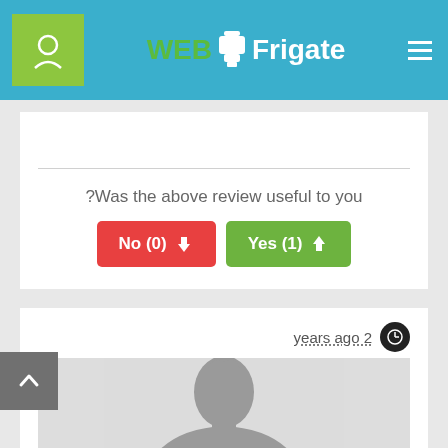WebFrigate navigation header
Was the above review useful to you?
No (0) | Yes (1)
2 years ago
[Figure (photo): Default user avatar placeholder image showing a grey silhouette of a person's head and shoulders on a light grey background]